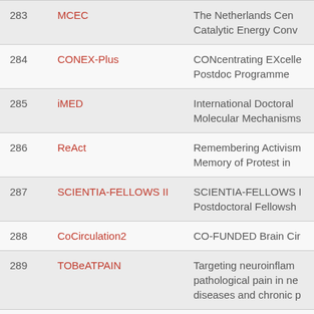| # | Acronym | Title |
| --- | --- | --- |
| 283 | MCEC | The Netherlands Cen... Catalytic Energy Conv... |
| 284 | CONEX-Plus | CONcentrating EXcelle... Postdoc Programme... |
| 285 | iMED | International Doctoral... Molecular Mechanisms... |
| 286 | ReAct | Remembering Activism... Memory of Protest in... |
| 287 | SCIENTIA-FELLOWS II | SCIENTIA-FELLOWS I... Postdoctoral Fellowsh... |
| 288 | CoCirculation2 | CO-FUNDED Brain Cir... |
| 289 | TOBeATPAIN | Targeting neuroinflam... pathological pain in ne... diseases and chronic p... |
| 290 | TARGETSS | Targeting SWI/SNF co... cancer |